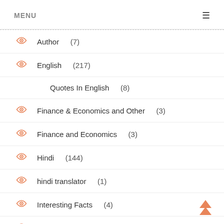MENU
Author (7)
English (217)
Quotes In English (8)
Finance & Economics and Other (3)
Finance and Economics (3)
Hindi (144)
hindi translator (1)
Interesting Facts (4)
Odia (49)